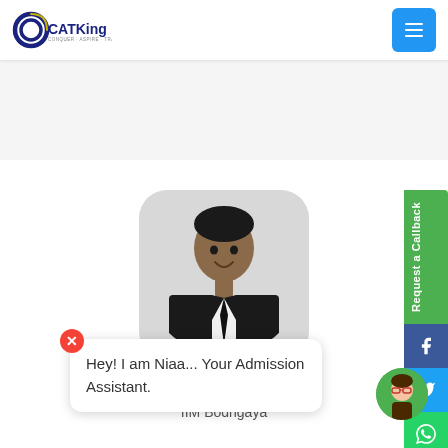[Figure (logo): CATKing logo with circular CC emblem and yellow accent]
[Figure (photo): Headshot of Arun Teja wearing a black suit and tie, smiling, against gray background, in rounded square frame]
Arun Teja
IIM Bodhgaya
[Figure (infographic): Request a Callback green vertical button with Facebook, Twitter, WhatsApp social icons]
Hey! I am Niaa... Your Admission Assistant.
[Figure (photo): Chat assistant avatar - woman with glasses in circular green frame]